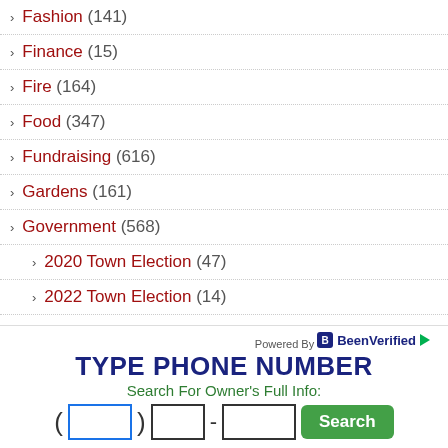Fashion (141)
Finance (15)
Fire (164)
Food (347)
Fundraising (616)
Gardens (161)
Government (568)
2020 Town Election (47)
2022 Town Election (14)
Health (853)
COVID-19 (200)
Hikes (4)
[Figure (infographic): BeenVerified ad: TYPE PHONE NUMBER — Search For Owner's Full Info with phone input fields and Search button]